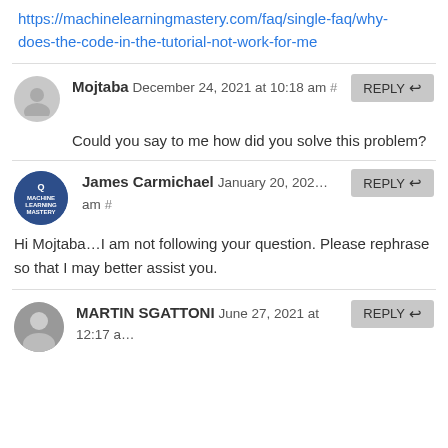https://machinelearningmastery.com/faq/single-faq/why-does-the-code-in-the-tutorial-not-work-for-me
Mojtaba December 24, 2021 at 10:18 am #
Could you say to me how did you solve this problem?
James Carmichael January 20, 202... am #
Hi Mojtaba...I am not following your question. Please rephrase so that I may better assist you.
MARTIN SGATTONI June 27, 2021 at 12:17 a...